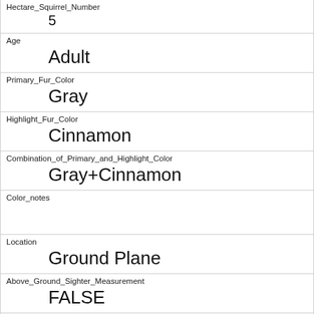| Hectare_Squirrel_Number | 5 |
| Age | Adult |
| Primary_Fur_Color | Gray |
| Highlight_Fur_Color | Cinnamon |
| Combination_of_Primary_and_Highlight_Color | Gray+Cinnamon |
| Color_notes |  |
| Location | Ground Plane |
| Above_Ground_Sighter_Measurement | FALSE |
| Specific_Location |  |
| Running | 0 |
| Chasing |  |